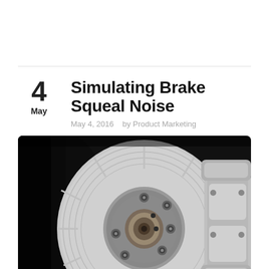Simulating Brake Squeal Noise
4
May
May 4, 2016    by Product Marketing
[Figure (photo): Close-up photograph of a car brake disc rotor and caliper assembly, showing the metallic rotor disc with lug nuts and hub, and the brake caliper on the right side, against a dark background.]